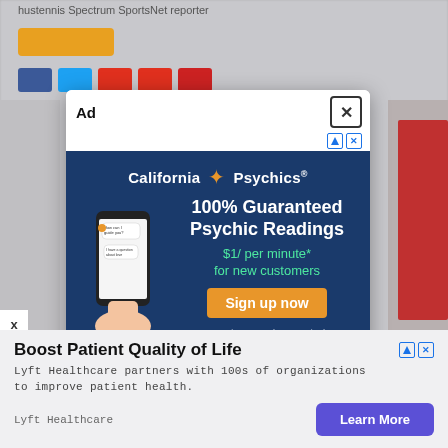hustennis Spectrum SportsNet reporter
[Figure (screenshot): Website page with yellow button and social share buttons visible in blurred background]
Ad
[Figure (screenshot): California Psychics advertisement: 100% Guaranteed Psychic Readings, $1/ per minute* for new customers. Sign up now. *20 minutes purchase required.]
[Figure (screenshot): Boost Patient Quality of Life - Lyft Healthcare advertisement. Lyft Healthcare partners with 100s of organizations to improve patient health. Learn More button.]